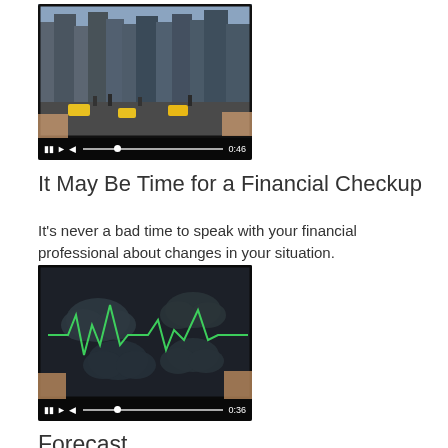[Figure (screenshot): Video thumbnail showing hands holding a tablet displaying a busy city street scene. Video player controls at bottom showing pause, play, scrubber and time 0:46.]
It May Be Time for a Financial Checkup
It's never a bad time to speak with your financial professional about changes in your situation.
[Figure (screenshot): Video thumbnail showing hands holding a tablet displaying a dark screen with cloud shapes and a green heartbeat/market line graph. Video player controls at bottom showing pause, play, scrubber and time 0:36.]
Forecast
The market is as unpredictable as the weather. We'd love to help you prepare.